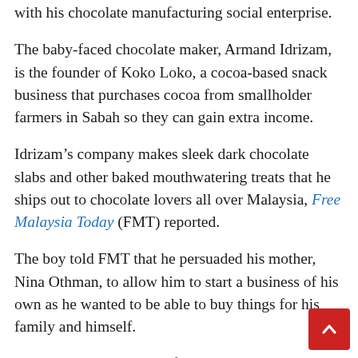with his chocolate manufacturing social enterprise.
The baby-faced chocolate maker, Armand Idrizam, is the founder of Koko Loko, a cocoa-based snack business that purchases cocoa from smallholder farmers in Sabah so they can gain extra income.
Idrizam’s company makes sleek dark chocolate slabs and other baked mouthwatering treats that he ships out to chocolate lovers all over Malaysia, Free Malaysia Today (FMT) reported.
The boy told FMT that he persuaded his mother, Nina Othman, to allow him to start a business of his own as he wanted to be able to buy things for his family and himself.
“I tagged along on one of my mum’s work trips where we arrived at Tambatuon Village and met a whole bunch of cocoa farmers,” said Idrizam.